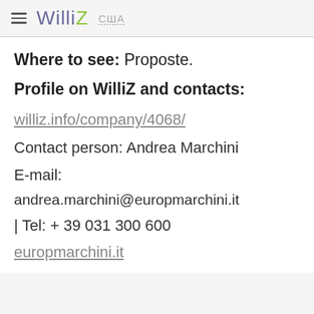WilliZ  США
Where to see: Proposte.
Profile on WilliZ and contacts:
williz.info/company/4068/
Contact person: Andrea Marchini
E-mail:
andrea.marchini@europmarchini.it
| Tel: + 39 031 300 600
europmarchini.it